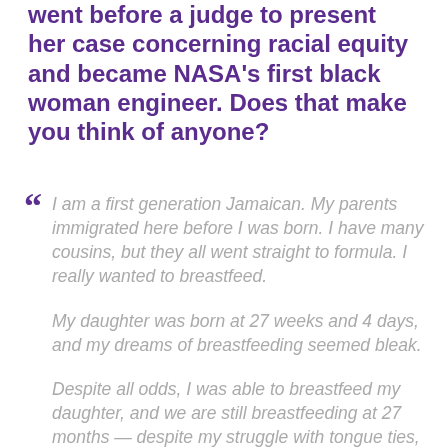went before a judge to present her case concerning racial equity and became NASA's first black woman engineer. Does that make you think of anyone?
" I am a first generation Jamaican. My parents immigrated here before I was born. I have many cousins, but they all went straight to formula. I really wanted to breastfeed.

My daughter was born at 27 weeks and 4 days, and my dreams of breastfeeding seemed bleak.

Despite all odds, I was able to breastfeed my daughter, and we are still breastfeeding at 27 months — despite my struggle with tongue ties, allergies, reflux, low supply, etc.